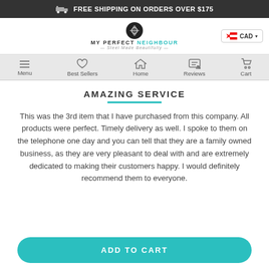FREE SHIPPING ON ORDERS OVER $175
[Figure (logo): My Perfect Neighbour logo with tagline Steel Made Beautifully and CAD currency selector]
[Figure (infographic): Navigation bar with Menu, Best Sellers, Home, Reviews, Cart icons]
AMAZING SERVICE
This was the 3rd item that I have purchased from this company. All products were perfect. Timely delivery as well. I spoke to them on the telephone one day and you can tell that they are a family owned business, as they are very pleasant to deal with and are extremely dedicated to making their customers happy. I would definitely recommend them to everyone.
ADD TO CART